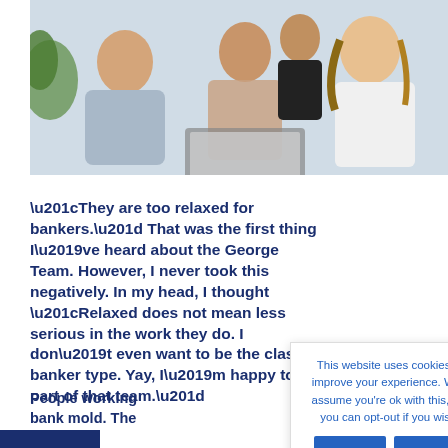[Figure (photo): Three people (two women and one man) smiling and looking at a laptop screen together in an office setting.]
“They are too relaxed for bankers.” That was the first thing I’ve heard about the George Team. However, I never took this negatively. In my head, I thought “Relaxed does not mean less serious in the work they do. I don’t even want to be the classic banker type. Yay, I’m happy to be part of that team.”
People working… bank mold. The…
This website uses cookies to improve your experience. We’ll assume you’re ok with this, but you can opt-out if you wish.